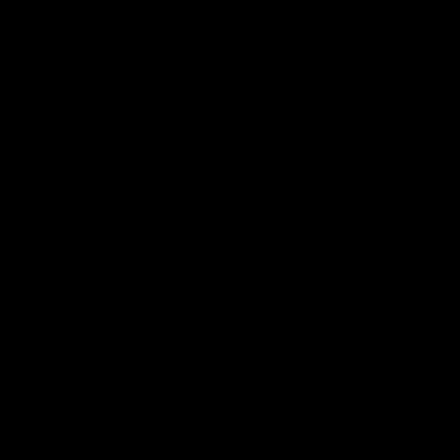spotty, but George Baptiste is in the books as the Missouri Champion, winning in 1899. There are no details on whom he defeated for the title or whom defeated him.
The next Missouri Champion doesn't appear in the records until 1921. Jake Reed defeated Lloyd Carter somehow, but again the records are so poor for that time period, no information is known.
In 1933, some 12 years later, Fred Peterson entered and began claiming that he was the Missouri Champion. He continued to make this claim until March of 1934, which happens to be the same time that Billy Wolf is listed as champion. It is unclear as to whom he defeated for the title, but Peterson could be a good guess.
1937 brings more clarity to the title, as Lou Thesz defeated Bockwinkel for the title on June 18th in Kansas City. This wouldn't last long, however, as the title did a disappearing act. October 17, 1947 in St. Joseph, MO. Over ten years after Thesz won the title, Ron Etchison defeated Someone for the title. There is no more information on how Thesz lost the belt.
Less than a month later on November 7, 1947, Thesz won a rematch with Etchison and became the Missouri Champion again. Before 1947 was over with, though, the title would remain that way until 1950.